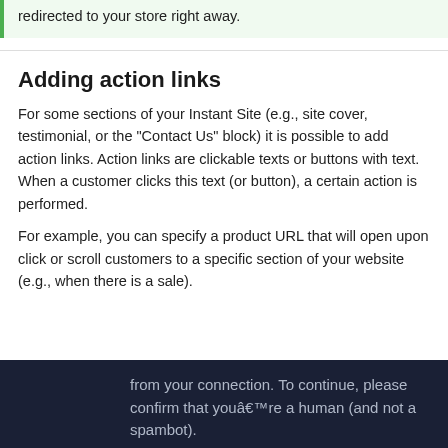redirected to your store right away.
Adding action links
For some sections of your Instant Site (e.g., site cover, testimonial, or the “Contact Us” block) it is possible to add action links. Action links are clickable texts or buttons with text. When a customer clicks this text (or button), a certain action is performed.
For example, you can specify a product URL that will open upon click or scroll customers to a specific section of your website (e.g., when there is a sale).
from your connection. To continue, please confirm that youâ€™re a human (and not a spambot).